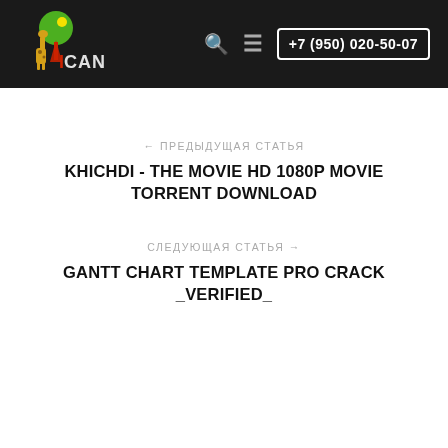ICAN +7 (950) 020-50-07
← ПРЕДЫДУЩАЯ СТАТЬЯ
KHICHDI - THE MOVIE HD 1080P MOVIE TORRENT DOWNLOAD
СЛЕДУЮЩАЯ СТАТЬЯ →
GANTT CHART TEMPLATE PRO CRACK _VERIFIED_